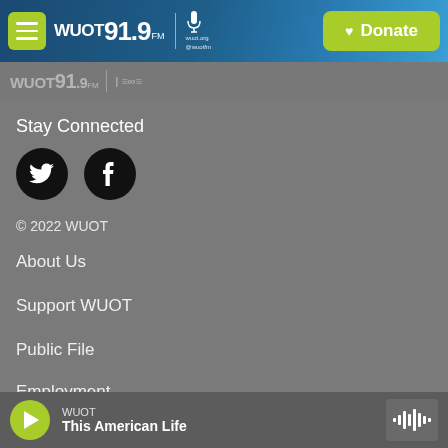WUOT 91.9 FM | wuot.org @wuotfm | Donate
[Figure (screenshot): Faded WUOT 91.9 FM logo repeated in secondary header bar]
Stay Connected
[Figure (illustration): Two black circular social media icons: Twitter bird icon and Facebook F icon]
© 2022 WUOT
About Us
Support WUOT
Public File
Employment
WUOT — This American Life (now playing)